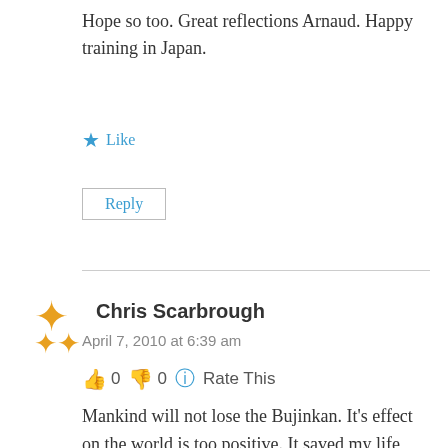Hope so too. Great reflections Arnaud. Happy training in Japan.
★ Like
Reply
Chris Scarbrough
April 7, 2010 at 6:39 am
👍 0 👎 0 ℹ️ Rate This
Mankind will not lose the Bujinkan. It's effect on the world is too positive. It saved my life, and I've witnessed the same in others. There are too many wonderful practitioners in order for such a jewel to be